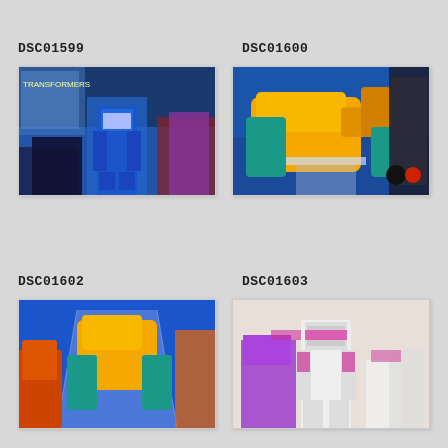DSC01599
DSC01600
[Figure (photo): Transformers toy figures displayed on a blue surface, featuring a blue robot figure in center with other colorful figures around it]
[Figure (photo): Yellow and teal Transformers Beast Wars figures displayed on a blue surface with acrylic stands]
DSC01602
DSC01603
[Figure (photo): Yellow and teal Transformers Beast Wars figures on a blue surface with an acrylic display stand]
[Figure (photo): White and pink/magenta Transformers robot figures against a light background]